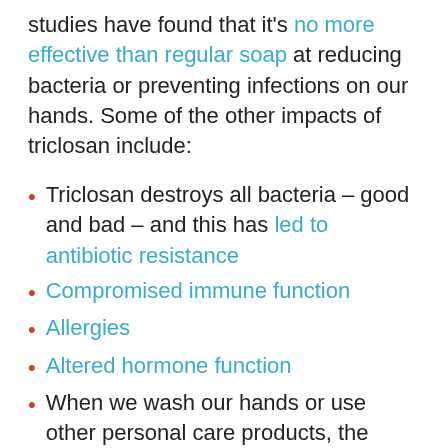studies have found that it's no more effective than regular soap at reducing bacteria or preventing infections on our hands. Some of the other impacts of triclosan include:
Triclosan destroys all bacteria – good and bad – and this has led to antibiotic resistance
Compromised immune function
Allergies
Altered hormone function
When we wash our hands or use other personal care products, the chemicals – including triclosan – flow into our waterways, and water treatment plants can't fully remove it. Researchers have detected triclosan concentrations in waterways, marine life and